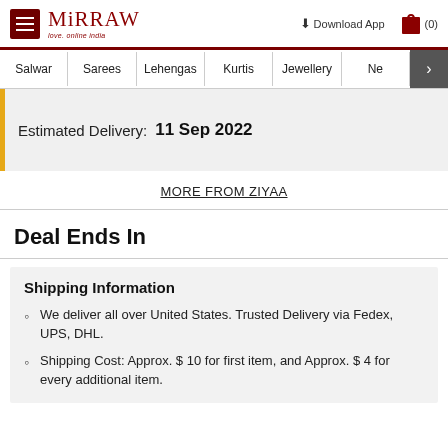Mirraw — love. online india | Download App | (0)
Salwar | Sarees | Lehengas | Kurtis | Jewellery | Ne >
Estimated Delivery: 11 Sep 2022
MORE FROM ZIYAA
Deal Ends In
Shipping Information
We deliver all over United States. Trusted Delivery via Fedex, UPS, DHL.
Shipping Cost: Approx. $ 10 for first item, and Approx. $ 4 for every additional item.